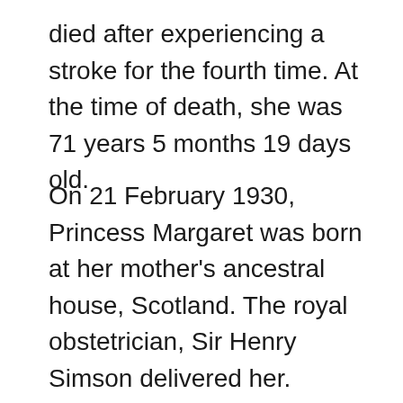died after experiencing a stroke for the fourth time. At the time of death, she was 71 years 5 months 19 days old.
On 21 February 1930, Princess Margaret was born at her mother's ancestral house, Scotland. The royal obstetrician, Sir Henry Simson delivered her. Moreover, Princess Margaret's birth registration was delayed due to avoid